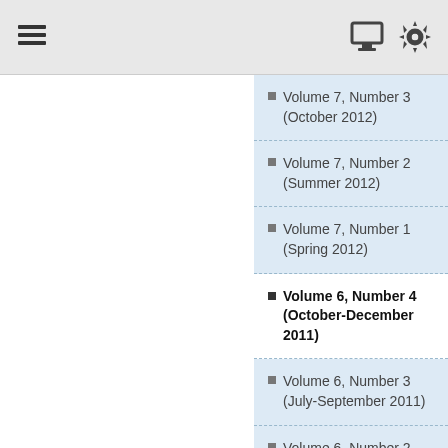Navigation toolbar with menu, monitor, and settings icons
Volume 7, Number 3 (October 2012)
Volume 7, Number 2 (Summer 2012)
Volume 7, Number 1 (Spring 2012)
Volume 6, Number 4 (October-December 2011)
Volume 6, Number 3 (July-September 2011)
Volume 6, Number 2 (April-June 1011)
Volume 6, Number 1